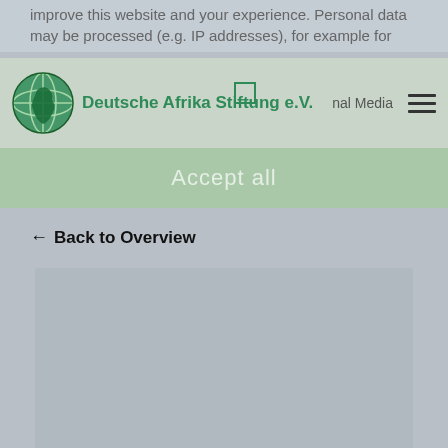improve this website and your experience. Personal data may be processed (e.g. IP addresses), for example for
Deutsche Afrika Stiftung e.V. | External Media
Accept all
← Back to Overview
[Figure (other): Large gray placeholder content area]